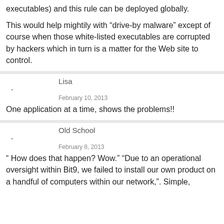executables) and this rule can be deployed globally.
This would help mightily with “drive-by malware” except of course when those white-listed executables are corrupted by hackers which in turn is a matter for the Web site to control.
Lisa
-
February 10, 2013
One application at a time, shows the problems!!
Old School
-
February 8, 2013
“ How does that happen? Wow.” “Due to an operational oversight within Bit9, we failed to install our own product on a handful of computers within our network,”. Simple,